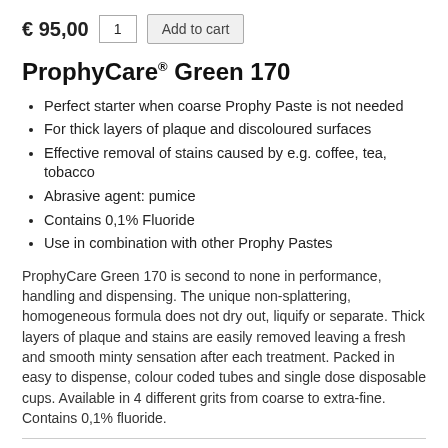€ 95,00   1   Add to cart
ProphyCare® Green 170
Perfect starter when coarse Prophy Paste is not needed
For thick layers of plaque and discoloured surfaces
Effective removal of stains caused by e.g. coffee, tea, tobacco
Abrasive agent: pumice
Contains 0,1% Fluoride
Use in combination with other Prophy Pastes
ProphyCare Green 170 is second to none in performance, handling and dispensing. The unique non-splattering, homogeneous formula does not dry out, liquify or separate. Thick layers of plaque and stains are easily removed leaving a fresh and smooth minty sensation after each treatment. Packed in easy to dispense, colour coded tubes and single dose disposable cups. Available in 4 different grits from coarse to extra-fine. Contains 0,1% fluoride.
4 reasons to use ProphyCare® Green 170